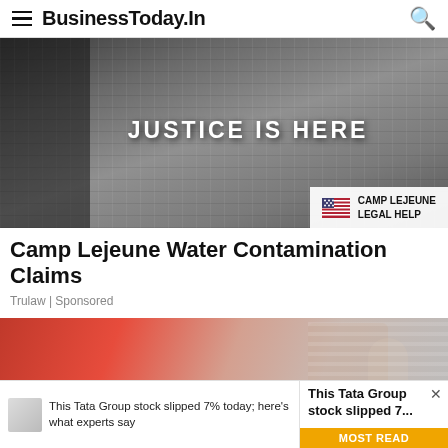BusinessToday.In
[Figure (photo): Advertisement banner with industrial chains background, text 'JUSTICE IS HERE' and Camp Lejeune Legal Help badge with US flag icon]
Camp Lejeune Water Contamination Claims
Trulaw | Sponsored
[Figure (photo): Photo of a hand pouring or holding a glass of water, person wearing red clothing with striped sleeve]
This Tata Group stock slipped 7% today; here's what experts say
This Tata Group stock slipped 7...
MOST READ